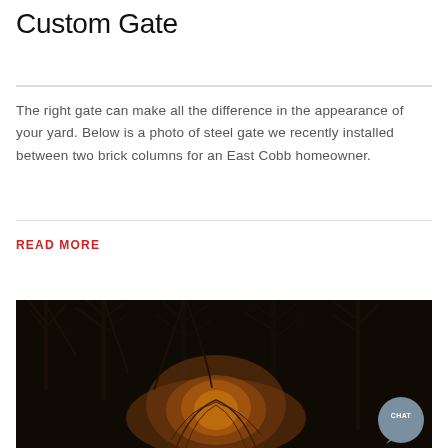Custom Gate
The right gate can make all the difference in the appearance of your yard. Below is a photo of steel gate we recently installed between two brick columns for an East Cobb homeowner.
READ MORE
[Figure (photo): Night photograph of bare trees with illuminated shrub in foreground against dark background, with a chat button overlay in the bottom right corner.]